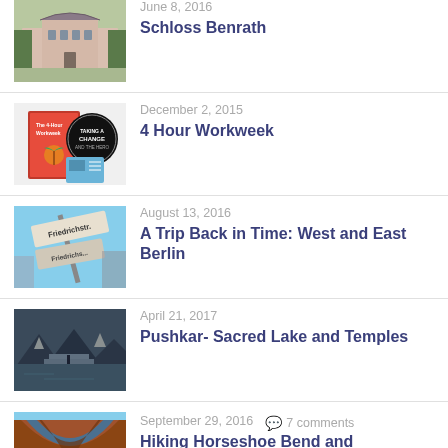[Figure (photo): Schloss Benrath palace building exterior]
June 8, 2016
Schloss Benrath
[Figure (photo): 4 Hour Workweek book cover with a circular stamp overlay]
December 2, 2015
4 Hour Workweek
[Figure (photo): Friedrichstrasse street sign in Berlin]
August 13, 2016
A Trip Back in Time: West and East Berlin
[Figure (photo): Pushkar sacred lake and temples landscape view]
April 21, 2017
Pushkar- Sacred Lake and Temples
[Figure (photo): Horseshoe Bend canyon aerial view]
September 29, 2016
7 comments
Hiking Horseshoe Bend and